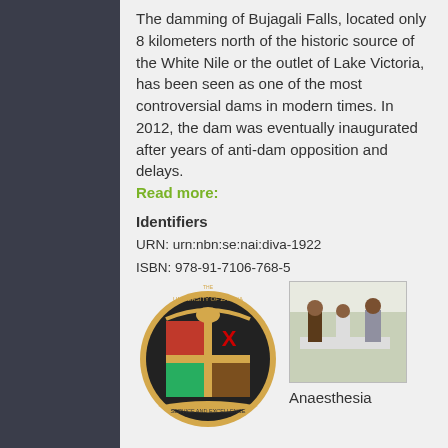The damming of Bujagali Falls, located only 8 kilometers north of the historic source of the White Nile or the outlet of Lake Victoria, has been seen as one of the most controversial dams in modern times. In 2012, the dam was eventually inaugurated after years of anti-dam opposition and delays.
Read more:
Identifiers
URN: urn:nbn:se:nai:diva-1922
ISBN: 978-91-7106-768-5
OAI: oai:DiVA.org:nai-1922
DiVA: diva2:799547
[Figure (logo): University of Zambia coat of arms / crest logo in circular form with motto 'Service and Excellence']
[Figure (photo): Photo of people in a medical/clinical setting, likely related to anaesthesia]
Anaesthesia